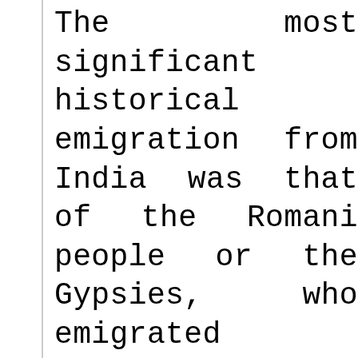The most significant historical emigration from India was that of the Romani people or the Gypsies, who emigrated towards the northwest between 500 AD. and 1000 AD. Another major emigration from the subcontinent was to South East Asia. The influence of Indian